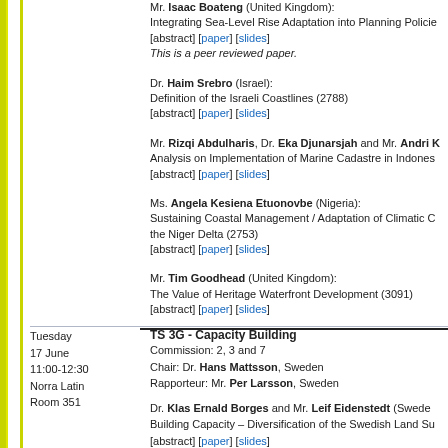Mr. Isaac Boateng (United Kingdom): Integrating Sea-Level Rise Adaptation into Planning Policies [abstract] [paper] [slides] This is a peer reviewed paper.
Dr. Haim Srebro (Israel): Definition of the Israeli Coastlines (2788) [abstract] [paper] [slides]
Mr. Rizqi Abdulharis, Dr. Eka Djunarsjah and Mr. Andri K: Analysis on Implementation of Marine Cadastre in Indonesia [abstract] [paper] [slides]
Ms. Angela Kesiena Etuonovbe (Nigeria): Sustaining Coastal Management / Adaptation of Climatic Change in the Niger Delta (2753) [abstract] [paper] [slides]
Mr. Tim Goodhead (United Kingdom): The Value of Heritage Waterfront Development (3091) [abstract] [paper] [slides]
Tuesday 17 June 11:00-12:30 Norra Latin Room 351
TS 3G - Capacity Building
Commission: 2, 3 and 7
Chair: Dr. Hans Mattsson, Sweden
Rapporteur: Mr. Per Larsson, Sweden
Dr. Klas Ernald Borges and Mr. Leif Eidenstedt (Sweden): Building Capacity – Diversification of the Swedish Land Survey [abstract] [paper] [slides]
Ms. Iyenemi Ibimina Kakulu (Nigeria): Capacity Building for Automated Land Information Systems